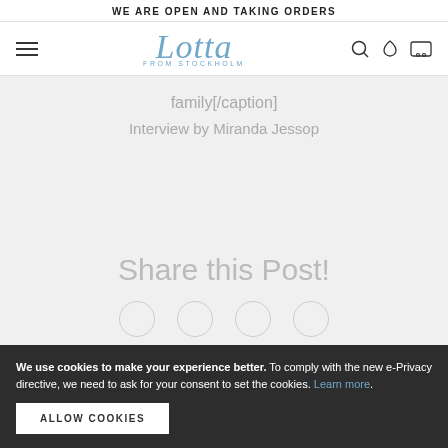WE ARE OPEN AND TAKING ORDERS
[Figure (logo): Lotta from Stockholm logo in blue cursive script]
family[/caption]
Interview by Miranda Jessop
Share this Post!
We use cookies to make your experience better. To comply with the new e-Privacy directive, we need to ask for your consent to set the cookies. Learn more.